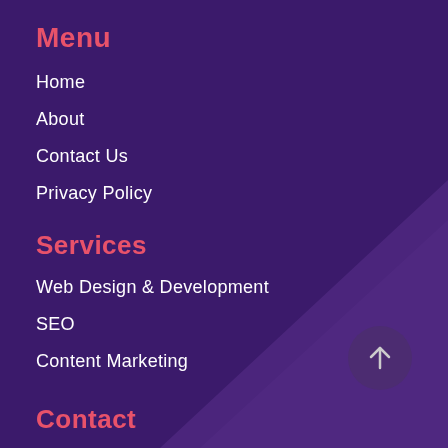Menu
Home
About
Contact Us
Privacy Policy
Services
Web Design & Development
SEO
Content Marketing
Contact
Email: hello@lumidigital.co.uk
[Figure (illustration): Back to top arrow button, circular dark purple button with upward arrow icon, positioned bottom right]